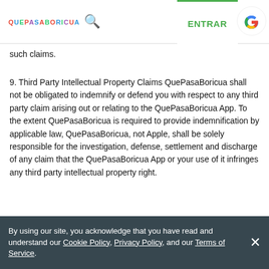QuePasaBoricua | ENTRAR | [Google logo]
such claims.
9. Third Party Intellectual Property Claims QuePasaBoricua shall not be obligated to indemnify or defend you with respect to any third party claim arising out or relating to the QuePasaBoricua App. To the extent QuePasaBoricua is required to provide indemnification by applicable law, QuePasaBoricua, not Apple, shall be solely responsible for the investigation, defense, settlement and discharge of any claim that the QuePasaBoricua App or your use of it infringes any third party intellectual property right.
By using our site, you acknowledge that you have read and understand our Cookie Policy, Privacy Policy, and our Terms of Service.